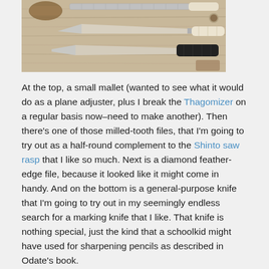[Figure (photo): Photo of woodworking tools laid on a wooden surface: a small mallet, a milled-tooth file, a diamond feather-edge file, a marking knife with black handle, and other tools.]
At the top, a small mallet (wanted to see what it would do as a plane adjuster, plus I break the Thagomizer on a regular basis now–need to make another). Then there's one of those milled-tooth files, that I'm going to try out as a half-round complement to the Shinto saw rasp that I like so much. Next is a diamond feather-edge file, because it looked like it might come in handy. And on the bottom is a general-purpose knife that I'm going to try out in my seemingly endless search for a marking knife that I like. That knife is nothing special, just the kind that a schoolkid might have used for sharpening pencils as described in Odate's book.
Next is a couple of small squares: